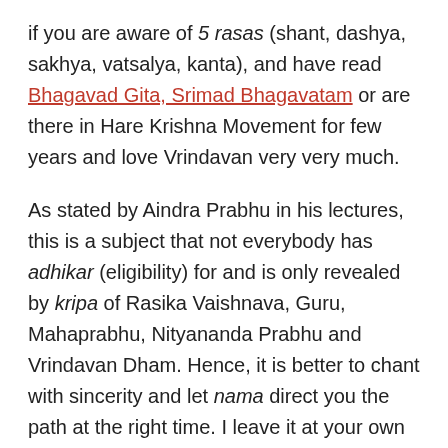if you are aware of 5 rasas (shant, dashya, sakhya, vatsalya, kanta), and have read Bhagavad Gita, Srimad Bhagavatam or are there in Hare Krishna Movement for few years and love Vrindavan very very much.
As stated by Aindra Prabhu in his lectures, this is a subject that not everybody has adhikar (eligibility) for and is only revealed by kripa of Rasika Vaishnava, Guru, Mahaprabhu, Nityananda Prabhu and Vrindavan Dham. Hence, it is better to chant with sincerity and let nama direct you the path at the right time. I leave it at your own discretion and how paramatma inspires you to read it further. As mentioned in the About section of this site, I am no